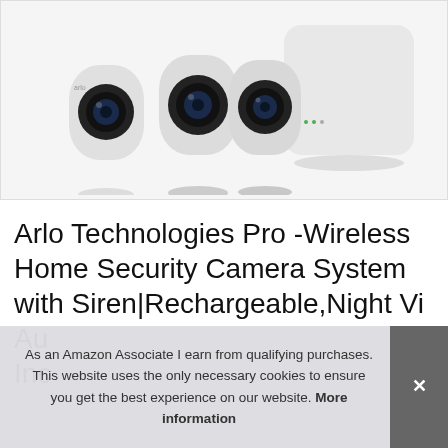[Figure (photo): Arlo Pro wireless security camera system showing three white cameras and a white hub/base station on a white background]
Arlo Technologies Pro -Wireless Home Security Camera System with Siren|Rechargeable,Night Vi... Au... Inc...
As an Amazon Associate I earn from qualifying purchases. This website uses the only necessary cookies to ensure you get the best experience on our website. More information